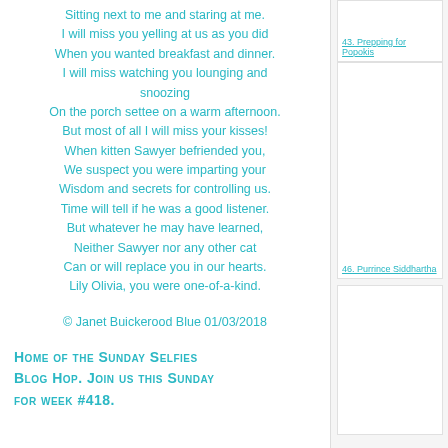Sitting next to me and staring at me.
I will miss you yelling at us as you did
When you wanted breakfast and dinner.
I will miss watching you lounging and snoozing
On the porch settee on a warm afternoon.
But most of all I will miss your kisses!
When kitten Sawyer befriended you,
We suspect you were imparting your
Wisdom and secrets for controlling us.
Time will tell if he was a good listener.
But whatever he may have learned,
Neither Sawyer nor any other cat
Can or will replace you in our hearts.
Lily Olivia, you were one-of-a-kind.
© Janet Buickerood Blue 01/03/2018
Home of the Sunday Selfies Blog Hop. Join us this Sunday for week #418.
43. Prepping for Popokis
46. Purrince Siddhartha